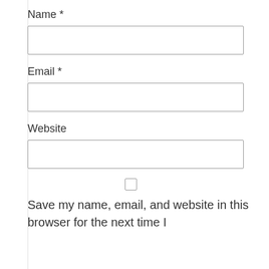Name *
[Figure (other): Empty text input field for Name]
Email *
[Figure (other): Empty text input field for Email]
Website
[Figure (other): Empty text input field for Website]
[Figure (other): Unchecked checkbox]
Save my name, email, and website in this browser for the next time I